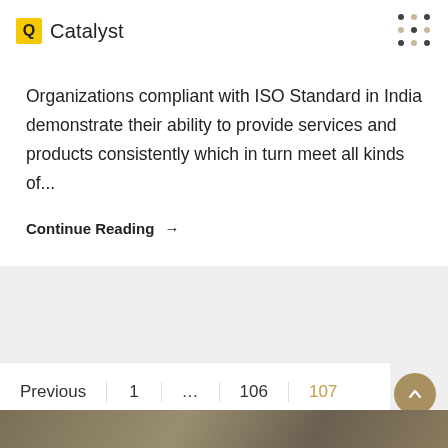Q Catalyst
Organizations compliant with ISO Standard in India demonstrate their ability to provide services and products consistently which in turn meet all kinds of...
Continue Reading →
Previous  1  ...  106  107
[Figure (photo): Bottom image strip showing an angled architectural or document surface in muted brown/tan tones]